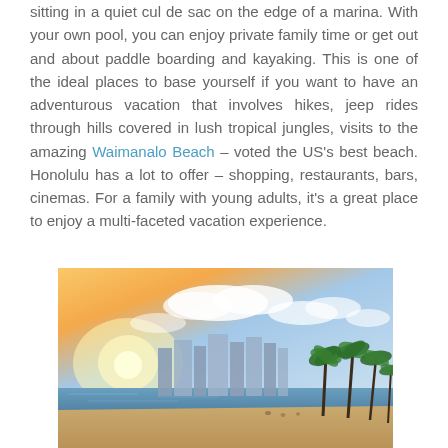sitting in a quiet cul de sac on the edge of a marina. With your own pool, you can enjoy private family time or get out and about paddle boarding and kayaking. This is one of the ideal places to base yourself if you want to have an adventurous vacation that involves hikes, jeep rides through hills covered in lush tropical jungles, visits to the amazing Waimanalo Beach – voted the US's best beach. Honolulu has a lot to offer – shopping, restaurants, bars, cinemas. For a family with young adults, it's a great place to enjoy a multi-faceted vacation experience.
[Figure (photo): Beach and city skyline at sunset — buildings and palm trees along a sandy beach with colorful sky and clouds in the background, likely Honolulu/Waikiki, Hawaii.]